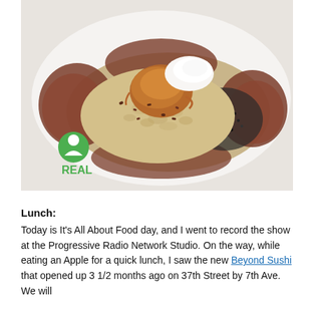[Figure (photo): A bowl of oatmeal or grain dish topped with cacao nibs, chia seeds, almond butter, and a dollop of cream, plated on a white plate. A green 'REAL' logo with a person icon is visible in the lower-left corner of the photo.]
Lunch:
Today is It's All About Food day, and I went to record the show at the Progressive Radio Network Studio. On the way, while eating an Apple for a quick lunch, I saw the new Beyond Sushi that opened up 3 1/2 months ago on 37th Street by 7th Ave. We will